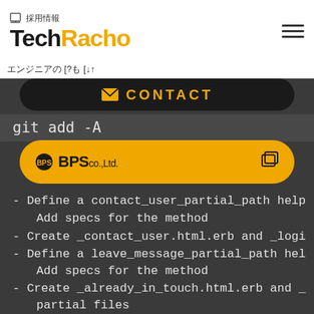採用情報 TechRacho
エンジニアの [?も [↓↑
CONTACT
git add -A
[Figure (logo): BPS co.,Ltd. logo button in yellow rounded rectangle]
- Define a contact_user_partial_path help
  Add specs for the method
- Create _contact_user.html.erb and _logi
- Define a leave_message_partial_path hel
  Add specs for the method
- Create _already_in_touch.html.erb and _
  partial files
- Define a @message_has_been_sent in Post
- Define a between_users scope inside the
  Add specs for the scope
- Define private_conversation and private
- Define routes for Private::Conversation
- Define a create action inside the Priva
- Create_success_is and _fail_is partial